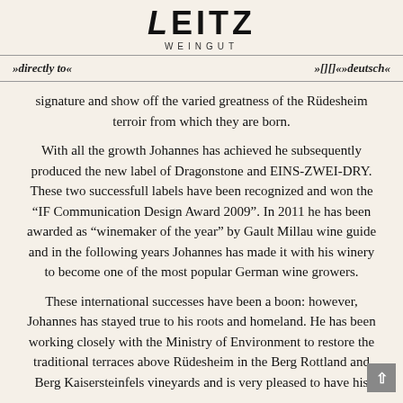[Figure (logo): Leitz Weingut logo with large bold stylized text LEITZ and subtitle WEINGUT]
»directly to«   »????«»deutsch«
signature and show off the varied greatness of the Rüdesheim terroir from which they are born.
With all the growth Johannes has achieved he subsequently produced the new label of Dragonstone and EINS-ZWEI-DRY. These two successfull labels have been recognized and won the "IF Communication Design Award 2009". In 2011 he has been awarded as "winemaker of the year" by Gault Millau wine guide and in the following years Johannes has made it with his winery to become one of the most popular German wine growers.
These international successes have been a boon: however, Johannes has stayed true to his roots and homeland. He has been working closely with the Ministry of Environment to restore the traditional terraces above Rüdesheim in the Berg Rottland and Berg Kaisersteinfels vineyards and is very pleased to have his